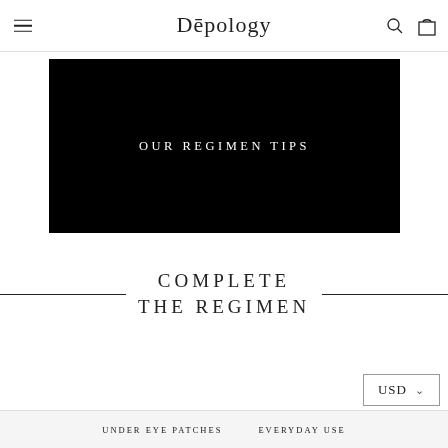Dēpology
[Figure (screenshot): Black rectangular block with white text reading OUR REGIMEN TIPS centered]
COMPLETE THE REGIMEN
USD
UNDER EYE PATCHES   EVERYDAY USE